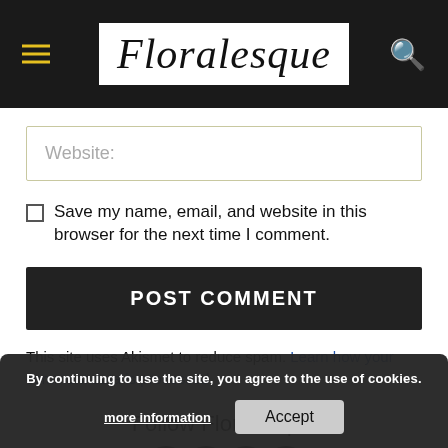Floralesque
Website:
Save my name, email, and website in this browser for the next time I comment.
POST COMMENT
This site uses Akismet to reduce spam. Learn how your comment data is processed.
Follow Floralesque
By continuing to use the site, you agree to the use of cookies. more information Accept